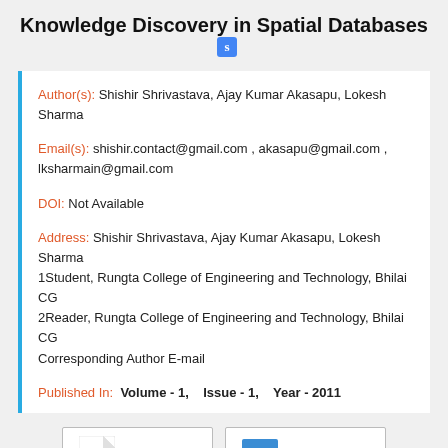Knowledge Discovery in Spatial Databases
Author(s): Shishir Shrivastava, Ajay Kumar Akasapu, Lokesh Sharma
Email(s): shishir.contact@gmail.com , akasapu@gmail.com , lksharmain@gmail.com
DOI: Not Available
Address: Shishir Shrivastava, Ajay Kumar Akasapu, Lokesh Sharma
1Student, Rungta College of Engineering and Technology, Bhilai CG
2Reader, Rungta College of Engineering and Technology, Bhilai CG
Corresponding Author E-mail
Published In: Volume - 1, Issue - 1, Year - 2011